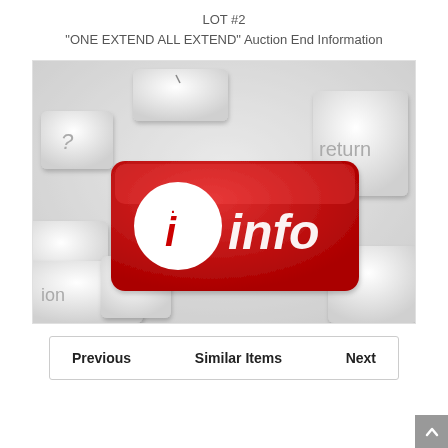LOT #2
"ONE EXTEND ALL EXTEND" Auction End Information
[Figure (photo): Close-up photo of a keyboard with a red 'info' key featuring a white circle with a lowercase 'i', surrounded by white/light gray keys including a 'return' key and partial keys showing '?' and 'ion' text.]
Previous   Similar Items   Next